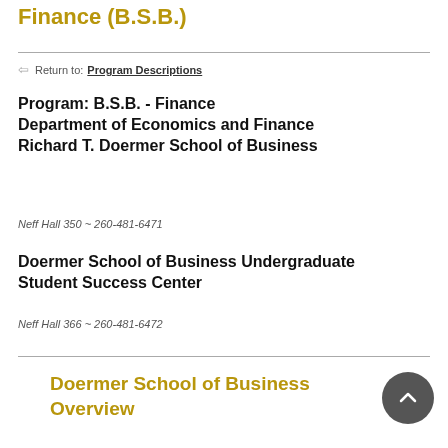Finance (B.S.B.)
← Return to: Program Descriptions
Program: B.S.B. - Finance Department of Economics and Finance Richard T. Doermer School of Business
Neff Hall 350 ~ 260-481-6471
Doermer School of Business Undergraduate Student Success Center
Neff Hall 366 ~ 260-481-6472
Doermer School of Business Overview